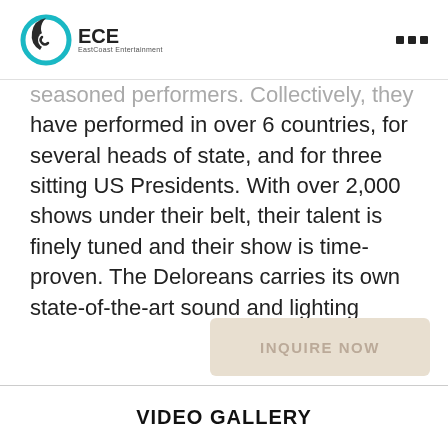ECE EastCoast Entertainment
seasoned performers. Collectively, they have performed in over 6 countries, for several heads of state, and for three sitting US Presidents. With over 2,000 shows under their belt, their talent is finely tuned and their show is time-proven. The Deloreans carries its own state-of-the-art sound and lighting production and also travels with its own professional sound and lighting engineers. The band also coordinates all of the details for each event with the venue and event contacts. Get ready for the time of your life!
INQUIRE NOW
VIDEO GALLERY